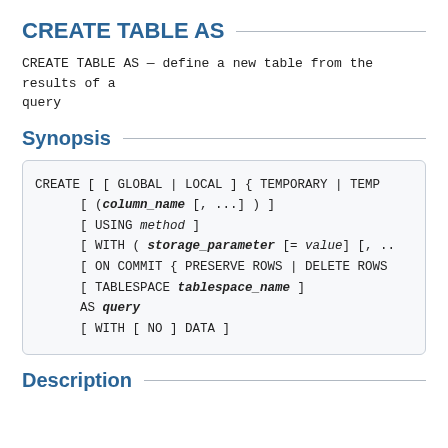CREATE TABLE AS
CREATE TABLE AS — define a new table from the results of a query
Synopsis
CREATE [ [ GLOBAL | LOCAL ] { TEMPORARY | TEMP
        [ (column_name [, ...] ) ]
        [ USING method ]
        [ WITH ( storage_parameter [= value] [, ..
        [ ON COMMIT { PRESERVE ROWS | DELETE ROWS
        [ TABLESPACE tablespace_name ]
        AS query
        [ WITH [ NO ] DATA ]
Description